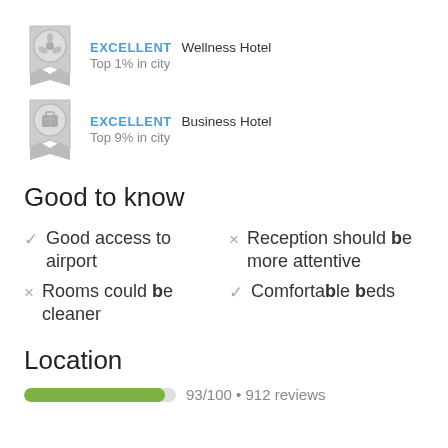[Figure (infographic): Silver award badge with flower/lotus icon for Wellness Hotel - EXCELLENT, Top 1% in city]
EXCELLENT  Wellness Hotel
Top 1% in city
[Figure (infographic): Silver award badge with suitcase icon for Business Hotel - EXCELLENT, Top 9% in city]
EXCELLENT  Business Hotel
Top 9% in city
Good to know
✓ Good access to airport
× Reception should be more attentive
× Rooms could be cleaner
✓ Comfortable beds
Location
93/100 • 912 reviews